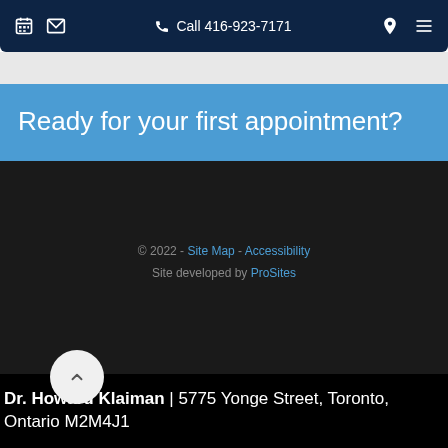Call 416-923-7171
Ready for your first appointment?
© 2022 - Site Map - Accessibility
Site developed by ProSites
Dr. Howard Klaiman | 5775 Yonge Street, Toronto, Ontario M2M4J1